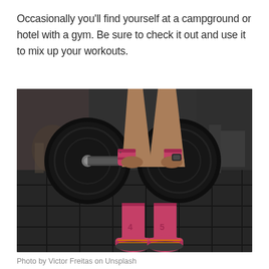Occasionally you'll find yourself at a campground or hotel with a gym. Be sure to check it out and use it to mix up your workouts.
[Figure (photo): A person deadlifting a barbell with large black weight plates in a gym with rubber tile flooring. The person is wearing bright pink/coral socks and colorful athletic shoes, with wrist wraps on both wrists.]
Photo by Victor Freitas on Unsplash